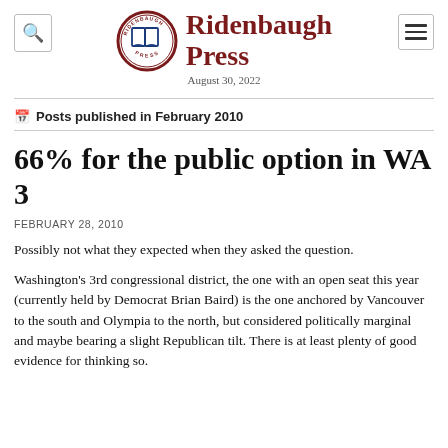Ridenbaugh Press — August 30, 2022
Posts published in February 2010
66% for the public option in WA 3
FEBRUARY 28, 2010
Possibly not what they expected when they asked the question.
Washington's 3rd congressional district, the one with an open seat this year (currently held by Democrat Brian Baird) is the one anchored by Vancouver to the south and Olympia to the north, but considered politically marginal and maybe bearing a slight Republican tilt. There is at least plenty of good evidence for thinking so.